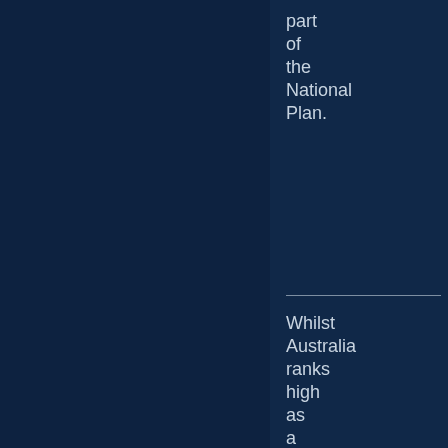part of the National Plan.
Whilst Australia ranks high as a place to live, it ranks low in areas like